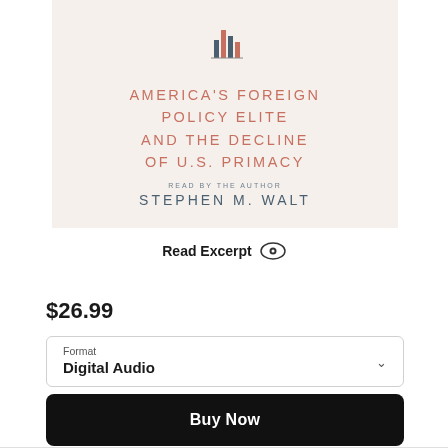[Figure (illustration): Book cover for 'America's Foreign Policy Elite and the Decline of U.S. Primacy' by Stephen M. Walt, audiobook edition read by the author. Cream/off-white background with salmon/terracotta colored title text and blue-gray author name. Small bar chart icon at top.]
Read Excerpt
$26.99
Format
Digital Audio
Buy Now